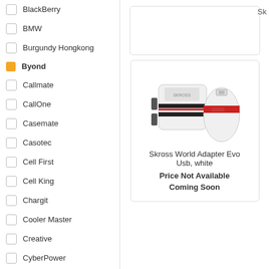BlackBerry
BMW
Burgundy Hongkong
Byond (selected/active)
Callmate
CallOne
Casemate
Casotec
Cell First
Cell King
Chargit
Cooler Master
Creative
CyberPower
Cygnott
[Figure (photo): Skross World Adapter Evo Usb white product photo showing two travel adapters, one square with plug prongs and one oval USB charger]
Skross World Adapter Evo Usb, white
Price Not Available
Coming Soon